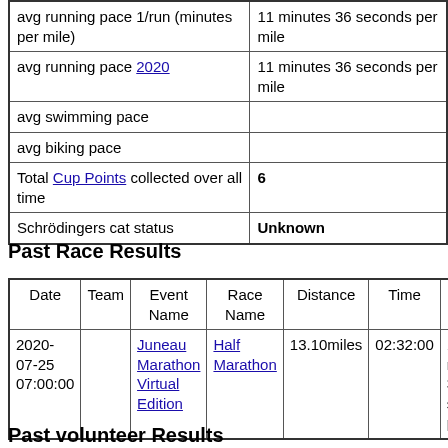|  |  |
| --- | --- |
| avg running pace 1/run (minutes per mile) | 11 minutes 36 seconds per mile |
| avg running pace 2020 | 11 minutes 36 seconds per mile |
| avg swimming pace |  |
| avg biking pace |  |
| Total Cup Points collected over all time | 6 |
| Schrödingers cat status | Unknown |
Past Race Results
| Date | Team | Event Name | Race Name | Distance | Time | Pace |
| --- | --- | --- | --- | --- | --- | --- |
| 2020-07-25 07:00:00 |  | Juneau Marathon Virtual Edition | Half Marathon | 13.10miles | 02:32:00 | 11 minutes 36 seconds per mile |
Past volunteer Results